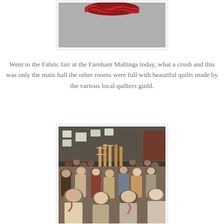[Figure (photo): Top portion of a photo showing red fabric/quilted item against a grey background, partially cropped.]
Went to the Fabric fair at the Farnham Maltings today, what a crush and this was only the main hall the other rooms were full with beautiful quilts made by the various local quilters guild.
[Figure (photo): Interior of a large hall crowded with people browsing stalls at a fabric fair. Wooden display stands and fabric rolls visible. High industrial ceiling with windows.]